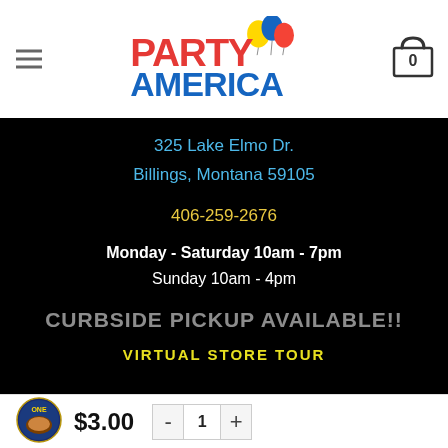Party America — 325 Lake Elmo Dr., Billings, Montana 59105 | 406-259-2676
325 Lake Elmo Dr.
Billings, Montana 59105
406-259-2676
Monday - Saturday 10am - 7pm
Sunday 10am - 4pm
CURBSIDE PICKUP AVAILABLE!!
VIRTUAL STORE TOUR
$3.00
ADD TO CART